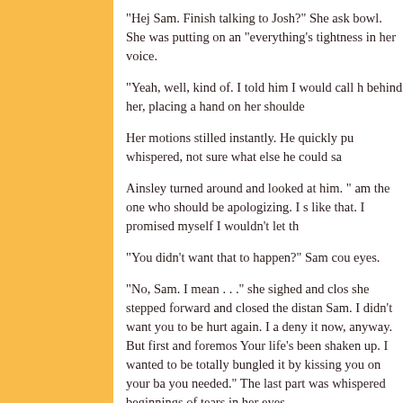"Hej Sam. Finish talking to Josh?" She ask bowl. She was putting on an "everything's tightness in her voice.
"Yeah, well, kind of. I told him I would call h behind her, placing a hand on her shoulde
Her motions stilled instantly. He quickly pu whispered, not sure what else he could sa
Ainsley turned around and looked at him. " am the one who should be apologizing. I s like that. I promised myself I wouldn't let th
"You didn't want that to happen?" Sam cou eyes.
"No, Sam. I mean . . ." she sighed and clos she stepped forward and closed the distan Sam. I didn't want you to be hurt again. I a deny it now, anyway. But first and foremos Your life's been shaken up. I wanted to be totally bungled it by kissing you on your ba you needed." The last part was whispered beginnings of tears in her eyes.